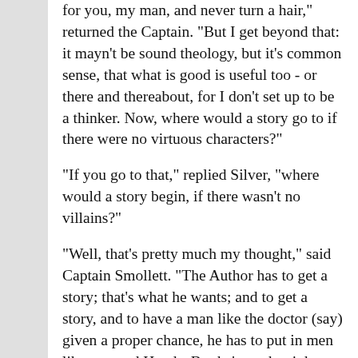for you, my man, and never turn a hair," returned the Captain. "But I get beyond that: it mayn't be sound theology, but it's common sense, that what is good is useful too - or there and thereabout, for I don't set up to be a thinker. Now, where would a story go to if there were no virtuous characters?"
"If you go to that," replied Silver, "where would a story begin, if there wasn't no villains?"
"Well, that's pretty much my thought," said Captain Smollett. "The Author has to get a story; that's what he wants; and to get a story, and to have a man like the doctor (say) given a proper chance, he has to put in men like you and Hands. But he's on the right side; and